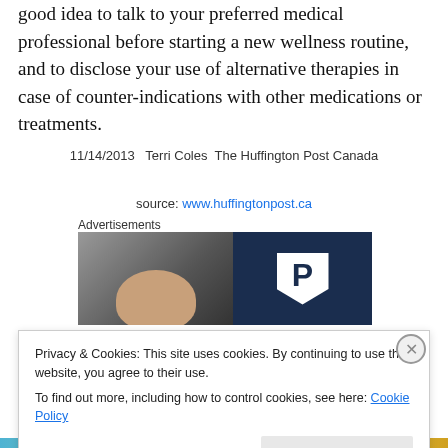good idea to talk to your preferred medical professional before starting a new wellness routine, and to disclose your use of alternative therapies in case of counter-indications with other medications or treatments.
11/14/2013  Terri Coles  The Huffington Post Canada
source: www.huffingtonpost.ca
Advertisements
[Figure (photo): Advertisement image: left half shows a blurred photo of a person's face, right half shows a dark navy background with a white parking 'P' sign shape.]
Privacy & Cookies: This site uses cookies. By continuing to use this website, you agree to their use.
To find out more, including how to control cookies, see here: Cookie Policy